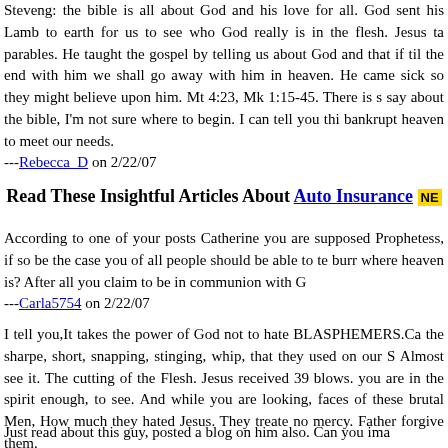Steveng: the bible is all about God and his love for all. God sent his Lamb to earth for us to see who God really is in the flesh. Jesus taught parables. He taught the gospel by telling us about God and that if we stay til the end with him we shall go away with him in heaven. He came to heal the sick so they might believe upon him. Mt 4:23, Mk 1:15-45. There is so much to say about the bible, I'm not sure where to begin. I can tell you this, God will not bankrupt heaven to meet our needs.
---Rebecca_D on 2/22/07
Read These Insightful Articles About Auto Insurance NEW
According to one of your posts Catherine you are supposed to be a Prophetess, if so be the case you of all people should be able to tell us burr where heaven is? After all you claim to be in communion with G...
---Carla5754 on 2/22/07
I tell you,It takes the power of God not to hate BLASPHEMERS.Ca... the sharpe, short, snapping, stinging, whip, that they used on our S... Almost see it. The cutting of the Flesh. Jesus received 39 blows. ... you are in the spirit enough, to see. And while you are looking, at the faces of these brutal Men, How much they hated Jesus. They treated him with no mercy. Father forgive them.
---catherine on 2/20/07
Just read about this guy, posted a blog on him also. Can you ima...